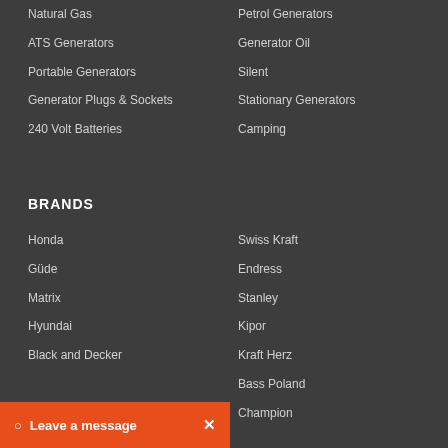Natural Gas
Petrol Generators
ATS Generators
Generator Oil
Portable Generators
Silent
Generator Plugs & Sockets
Stationary Generators
240 Volt Batteries
Camping
BRANDS
Honda
Swiss Kraft
Güde
Endress
Matrix
Stanley
Hyundai
Kipor
Black and Decker
Kraft Herz
Bass Poland
Champion
Leave a message